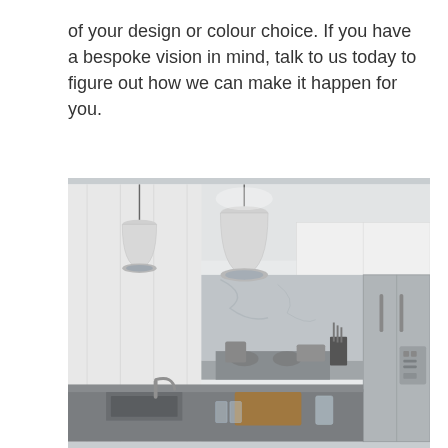of your design or colour choice. If you have a bespoke vision in mind, talk to us today to figure out how we can make it happen for you.
[Figure (photo): A modern kitchen interior with white cabinetry, two white pendant dome lights hanging from the ceiling, a marble/glass splashback, stainless steel appliances including a refrigerator and stovetop, and a kitchen island with a dark stone countertop. Natural light fills the space giving a bright, clean aesthetic.]